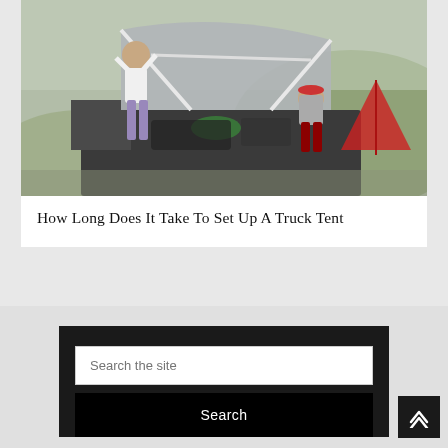[Figure (photo): Two people setting up a truck tent on a pickup truck bed outdoors, with green hills and a red tent visible in the background.]
How Long Does It Take To Set Up A Truck Tent
Search the site
Search